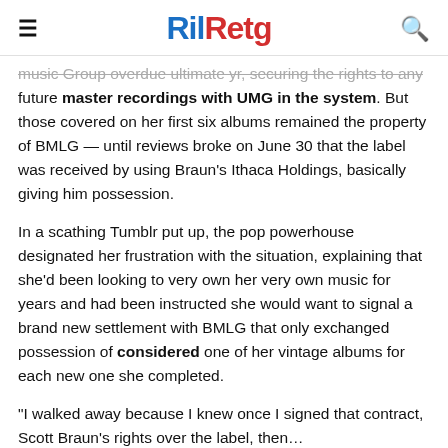RilRetg
music Group overdue ultimate yr, securing the rights to any future master recordings with UMG in the system. But those covered on her first six albums remained the property of BMLG — until reviews broke on June 30 that the label was received by using Braun's Ithaca Holdings, basically giving him possession.
In a scathing Tumblr put up, the pop powerhouse designated her frustration with the situation, explaining that she'd been looking to very own her very own music for years and had been instructed she would want to signal a brand new settlement with BMLG that only exchanged possession of considered one of her vintage albums for each new one she completed.
“I walked away because I knew once I signed that contract, Scott Braun’s rights over the label, then…